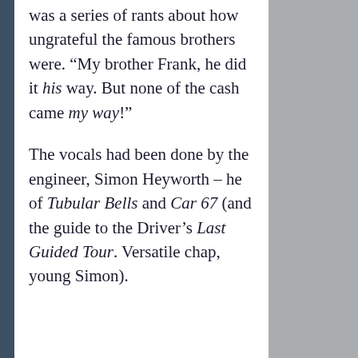was a series of rants about how ungrateful the famous brothers were. “My brother Frank, he did it his way. But none of the cash came my way!”

The vocals had been done by the engineer, Simon Heyworth – he of Tubular Bells and Car 67 (and the guide to the Driver’s Last Guided Tour. Versatile chap, young Simon).